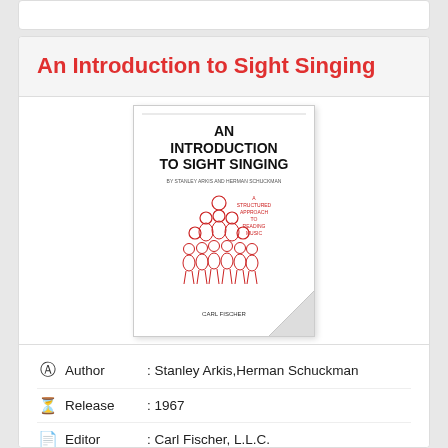An Introduction to Sight Singing
[Figure (photo): Book cover of 'An Introduction to Sight Singing' by Stanley Arkis and Herman Schuckman, published by Carl Fischer. The cover has bold black title text and a red illustration of a group of singers, with a page curl at the bottom right corner.]
Author : Stanley Arkis, Herman Schuckman
Release : 1967
Editor : Carl Fischer, L.L.C.